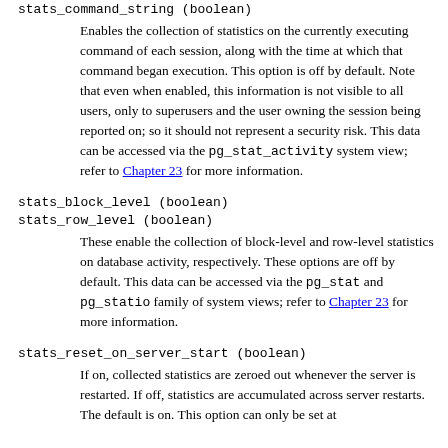stats_command_string (boolean)
Enables the collection of statistics on the currently executing command of each session, along with the time at which that command began execution. This option is off by default. Note that even when enabled, this information is not visible to all users, only to superusers and the user owning the session being reported on; so it should not represent a security risk. This data can be accessed via the pg_stat_activity system view; refer to Chapter 23 for more information.
stats_block_level (boolean)
stats_row_level (boolean)
These enable the collection of block-level and row-level statistics on database activity, respectively. These options are off by default. This data can be accessed via the pg_stat and pg_statio family of system views; refer to Chapter 23 for more information.
stats_reset_on_server_start (boolean)
If on, collected statistics are zeroed out whenever the server is restarted. If off, statistics are accumulated across server restarts. The default is on. This option can only be set at